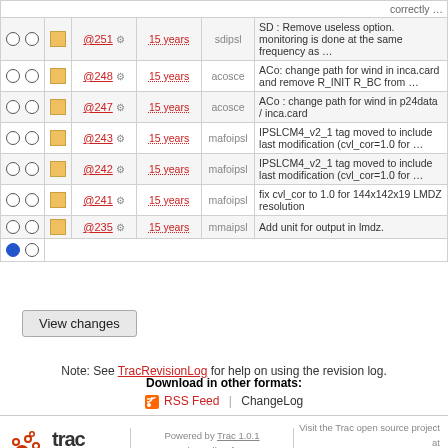|  |  |  | Rev |  | Age | Author | Log Message |
| --- | --- | --- | --- | --- | --- | --- | --- |
| ○ | ○ | ■ | @251 | ⚙ | 15 years | sdipsl | SD : Remove useless option. monitoring is done at the same frequency as … |
| ○ | ○ | ■ | @248 | ⚙ | 15 years | acosce | ACo: change path for wind in inca.card and remove R_INIT R_BC from … |
| ○ | ○ | ■ | @247 | ⚙ | 15 years | acosce | ACo : change path for wind in p24data / inca.card |
| ○ | ○ | ■ | @243 | ⚙ | 15 years | mafoipsl | IPSLCM4_v2_1 tag moved to include last modification (cvl_cor=1.0 for … |
| ○ | ○ | ■ | @242 | ⚙ | 15 years | mafoipsl | IPSLCM4_v2_1 tag moved to include last modification (cvl_cor=1.0 for … |
| ○ | ○ | ■ | @241 | ⚙ | 15 years | mafoipsl | fix cvl_cor to 1.0 for 144x142x19 LMDZ resolution |
| ○ | ○ | ■ | @235 | ⚙ | 15 years | mmaipsl | Add unit for output in lmdz. |
| ● | ○ |  |  |  |  |  |  |
Note: See TracRevisionLog for help on using the revision log.
Download in other formats:
RSS Feed | ChangeLog
Powered by Trac 1.0.1
By Edgewall Software.
Visit the Trac open source project at http://trac.edgewall.com/